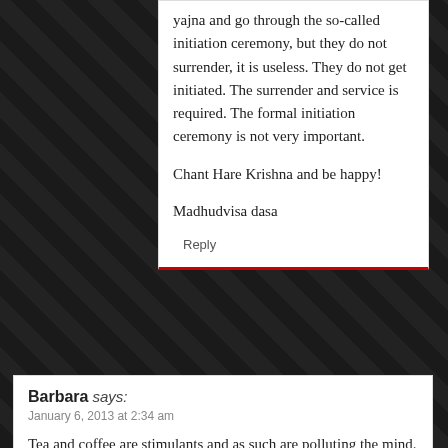yajna and go through the so-called initiation ceremony, but they do not surrender, it is useless. They do not get initiated. The surrender and service is required. The formal initiation ceremony is not very important.
Chant Hare Krishna and be happy!
Madhudvisa dasa
Reply
Barbara says: January 6, 2013 at 2:34 am
Tea and coffee are stimulants and as such are polluting the mind. The mind must be trained by chanting Maha